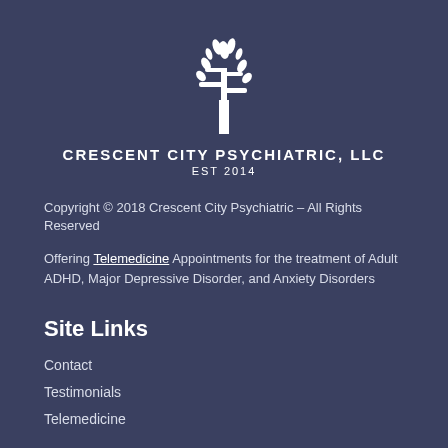[Figure (logo): White stylized tree logo for Crescent City Psychiatric, LLC]
CRESCENT CITY PSYCHIATRIC, LLC
EST 2014
Copyright © 2018 Crescent City Psychiatric – All Rights Reserved
Offering Telemedicine Appointments for the treatment of Adult ADHD, Major Depressive Disorder, and Anxiety Disorders
Site Links
Contact
Testimonials
Telemedicine
New Patient Info